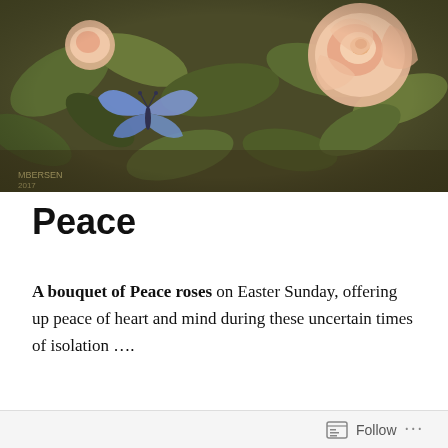[Figure (illustration): Watercolor painting of pink/peach Peace roses with green foliage and a blue butterfly, partially cropped at top]
Peace
A bouquet of Peace roses on Easter Sunday, offering up peace of heart and mind during these uncertain times of isolation ….
[Figure (illustration): Watercolor painting of two large pink/peach Peace roses with yellow centers, surrounded by green leaves, partially cropped at bottom]
Follow ...